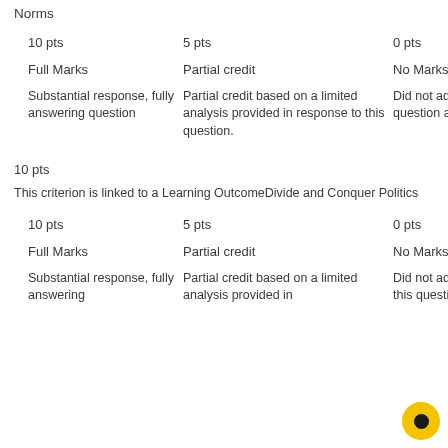Norms
| 10 pts | 5 pts | 0 pts |
| --- | --- | --- |
| Full Marks | Partial credit | No Marks |
| Substantial response, fully answering question | Partial credit based on a limited analysis provided in response to this question. | Did not address this question as required |
10 pts
This criterion is linked to a Learning OutcomeDivide and Conquer Politics
| 10 pts | 5 pts | 0 pts |
| --- | --- | --- |
| Full Marks | Partial credit | No Marks |
| Substantial response, fully answering | Partial credit based on a limited analysis provided in | Did not address this question as |